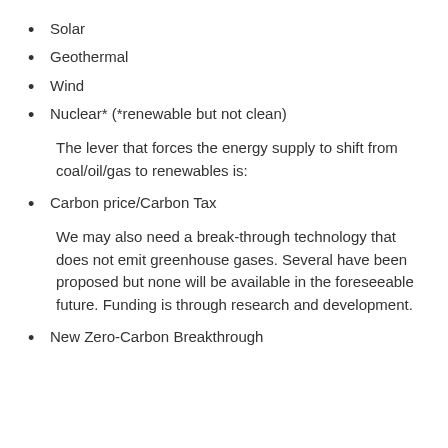Solar
Geothermal
Wind
Nuclear* (*renewable but not clean)
The lever that forces the energy supply to shift from coal/oil/gas to renewables is:
Carbon price/Carbon Tax
We may also need a break-through technology that does not emit greenhouse gases. Several have been proposed but none will be available in the foreseeable future. Funding is through research and development.
New Zero-Carbon Breakthrough